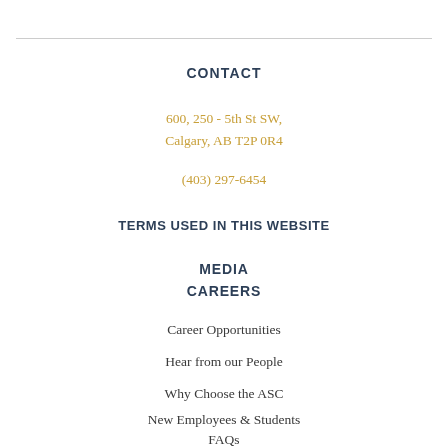CONTACT
600, 250 - 5th St SW,
Calgary, AB T2P 0R4
(403) 297-6454
TERMS USED IN THIS WEBSITE
MEDIA
CAREERS
Career Opportunities
Hear from our People
Why Choose the ASC
New Employees & Students
FAQs